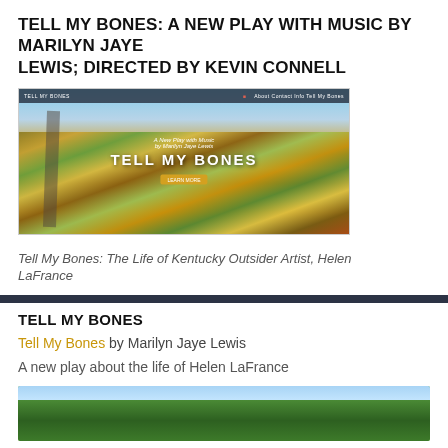TELL MY BONES: A NEW PLAY WITH MUSIC BY MARILYN JAYE LEWIS; DIRECTED BY KEVIN CONNELL
[Figure (screenshot): Screenshot of the Tell My Bones website showing an aerial photograph of colorful agricultural fields in Kentucky with the overlaid text 'Tell My Bones' and a navigation bar at the top.]
Tell My Bones: The Life of Kentucky Outsider Artist, Helen LaFrance
TELL MY BONES
Tell My Bones by Marilyn Jaye Lewis
A new play about the life of Helen LaFrance
[Figure (photo): Partial photo of lush green trees against a blue sky, bottom of page.]